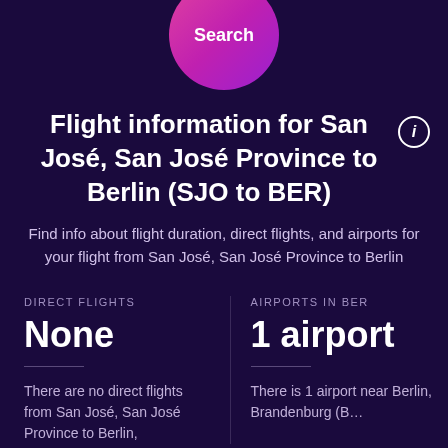[Figure (other): Pink/magenta circular Search button]
Flight information for San José, San José Province to Berlin (SJO to BER)
Find info about flight duration, direct flights, and airports for your flight from San José, San José Province to Berlin
DIRECT FLIGHTS
None
There are no direct flights from San José, San José Province to Berlin,
AIRPORTS IN BER
1 airport
There is 1 airport near Berlin, Brandenburg (B…